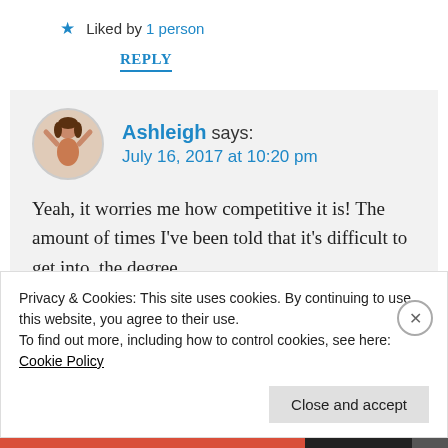★ Liked by 1 person
REPLY
Ashleigh says: July 16, 2017 at 10:20 pm
Yeah, it worries me how competitive it is! The amount of times I've been told that it's difficult to get into, the degree
Privacy & Cookies: This site uses cookies. By continuing to use this website, you agree to their use.
To find out more, including how to control cookies, see here: Cookie Policy